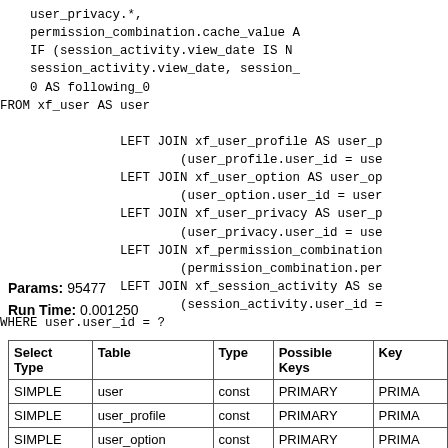user_privacy.*,
    permission_combination.cache_value A
    IF (session_activity.view_date IS N
    session_activity.view_date, session
    0 AS following_0
FROM xf_user AS user

                LEFT JOIN xf_user_profile AS user_p
                        (user_profile.user_id = use
                LEFT JOIN xf_user_option AS user_op
                        (user_option.user_id = user
                LEFT JOIN xf_user_privacy AS user_p
                        (user_privacy.user_id = use
                LEFT JOIN xf_permission_combination
                        (permission_combination.per
                LEFT JOIN xf_session_activity AS se
                        (session_activity.user_id =
WHERE user.user_id = ?
Params: 95477
Run Time: 0.001250
| Select Type | Table | Type | Possible Keys | Key |
| --- | --- | --- | --- | --- |
| SIMPLE | user | const | PRIMARY | PRIMA |
| SIMPLE | user_profile | const | PRIMARY | PRIMA |
| SIMPLE | user_option | const | PRIMARY | PRIMA |
| SIMPLE | user_privacy | const | PRIMARY | PRIMA |